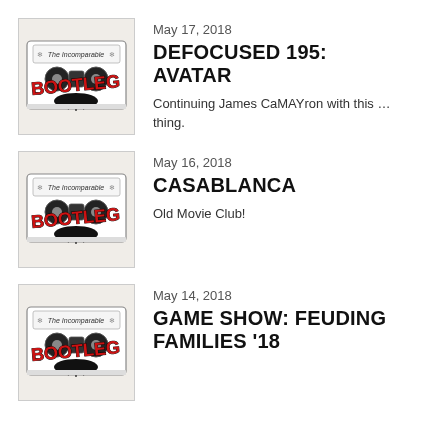[Figure (illustration): Bootleg podcast cover art showing a cassette tape with 'The Incomparable' text and 'BOOTLEG' in red graffiti-style lettering with a blimp/zeppelin graphic]
May 17, 2018
DEFOCUSED 195: AVATAR
Continuing James CaMAYron with this … thing.
[Figure (illustration): Bootleg podcast cover art showing a cassette tape with 'The Incomparable' text and 'BOOTLEG' in red graffiti-style lettering with a blimp/zeppelin graphic]
May 16, 2018
CASABLANCA
Old Movie Club!
[Figure (illustration): Bootleg podcast cover art showing a cassette tape with 'The Incomparable' text and 'BOOTLEG' in red graffiti-style lettering with a blimp/zeppelin graphic]
May 14, 2018
GAME SHOW: FEUDING FAMILIES '18